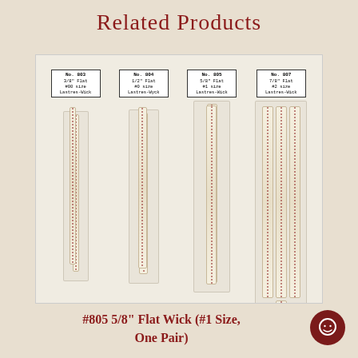Related Products
[Figure (photo): Four packaged flat wicks displayed side by side: No. 803 (3/8" Flat, #00 size, Lastrtes-Wick), No. 804 (1/2" Flat, #0 size, Lastres-Wyck), No. 805 (5/8" Flat, #1 size, Lastres-Wick), No. 807 (7/8" Flat, #2 size, Lastres-Wick). Each package contains cream-colored flat wicks with red dotted center lines, varying in width and bundled in clear plastic packaging.]
#805 5/8" Flat Wick (#1 Size, One Pair)